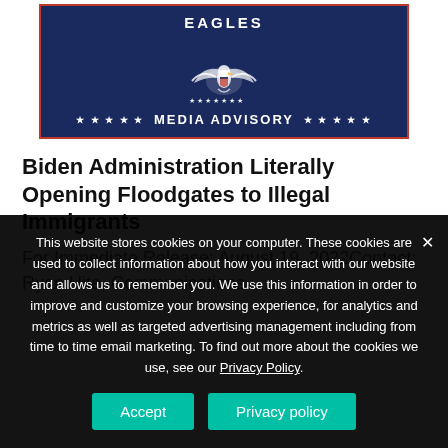[Figure (logo): Eagles organization logo with dark navy blue banner showing an eagle emblem and 'MEDIA ADVISORY' text with stars, outlined with a red border]
Biden Administration Literally Opening Floodgates to Illegal Immigrants
For Immediate Release: August 19, 2022Contact: Ryan Hite, Communications
This website stores cookies on your computer. These cookies are used to collect information about how you interact with our website and allows us to remember you. We use this information in order to improve and customize your browsing experience, for analytics and metrics as well as targeted advertising management including from time to time email marketing. To find out more about the cookies we use, see our Privacy Policy.